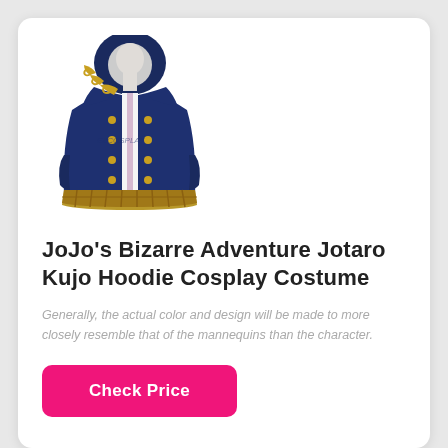[Figure (photo): A navy blue hoodie cosplay costume with gold chain detail, white undershirt visible, displayed on a mannequin without a head. The hoodie has gold buttons down the front and a plaid/checkered hem. Watermark 'EZCOSPLAY' visible on the garment.]
JoJo's Bizarre Adventure Jotaro Kujo Hoodie Cosplay Costume
Generally, the actual color and design will be made to more closely resemble that of the mannequins than the character.
Check Price